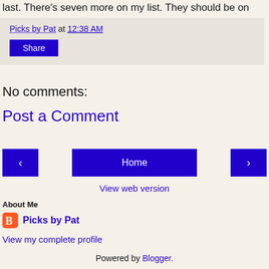last. There's seven more on my list. They should be on yours.
Picks by Pat at 12:38 AM
Share
No comments:
Post a Comment
‹  Home  ›
View web version
About Me
Picks by Pat
View my complete profile
Powered by Blogger.